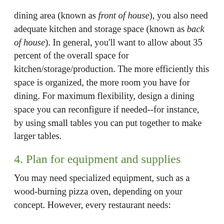dining area (known as front of house), you also need adequate kitchen and storage space (known as back of house). In general, you'll want to allow about 35 percent of the overall space for kitchen/storage/production. The more efficiently this space is organized, the more room you have for dining. For maximum flexibility, design a dining space you can reconfigure if needed--for instance, by using small tables you can put together to make larger tables.
4. Plan for equipment and supplies
You may need specialized equipment, such as a wood-burning pizza oven, depending on your concept. However, every restaurant needs: